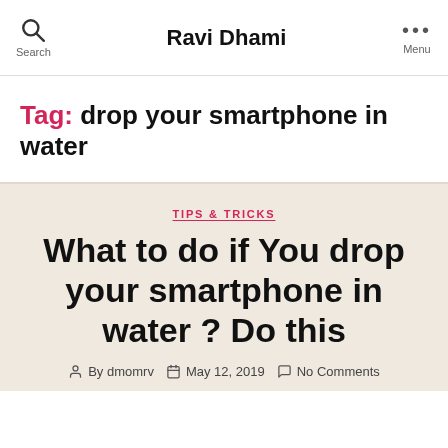Ravi Dhami | Search | Menu
Tag: drop your smartphone in water
TIPS & TRICKS
What to do if You drop your smartphone in water ? Do this
By dmomrv   May 12, 2019   No Comments